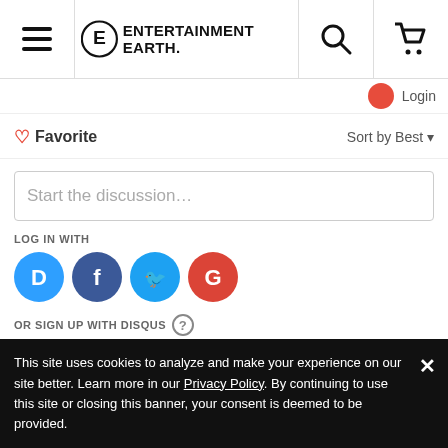Entertainment Earth - header navigation with hamburger menu, logo, search, and cart
Login
♡ Favorite   Sort by Best
Start the discussion...
LOG IN WITH
[Figure (logo): Social login icons: Disqus (blue), Facebook (dark blue), Twitter (light blue), Google (red)]
OR SIGN UP WITH DISQUS ?
Name
This site uses cookies to analyze and make your experience on our site better. Learn more in our Privacy Policy. By continuing to use this site or closing this banner, your consent is deemed to be provided.